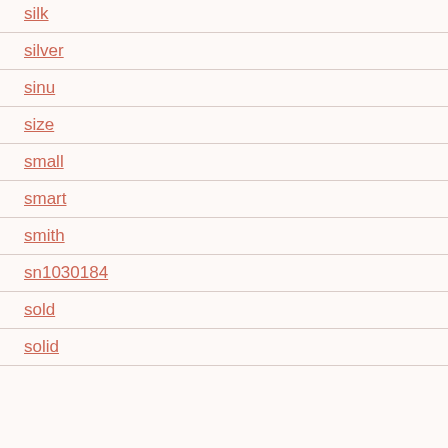silk
silver
sinu
size
small
smart
smith
sn1030184
sold
solid